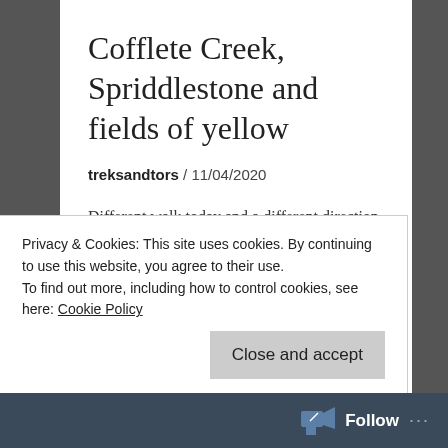Cofflete Creek, Spriddlestone and fields of yellow
treksandtors / 11/04/2020
Different walk today and a different direction, as is the way when you are walking from the same starting point each time, you will get some crossover of walks and some repeated parts. This one was different right until Hollacombe, so only the final quarter was a repeat, which was nice. I also
Privacy & Cookies: This site uses cookies. By continuing to use this website, you agree to their use.
To find out more, including how to control cookies, see here: Cookie Policy
Close and accept